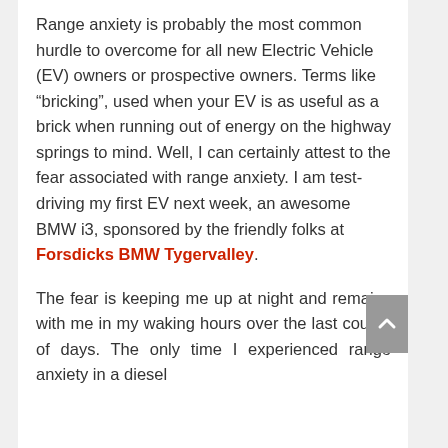Range anxiety is probably the most common hurdle to overcome for all new Electric Vehicle (EV) owners or prospective owners. Terms like “bricking”, used when your EV is as useful as a brick when running out of energy on the highway springs to mind. Well, I can certainly attest to the fear associated with range anxiety. I am test-driving my first EV next week, an awesome BMW i3, sponsored by the friendly folks at Forsdicks BMW Tygervalley.
The fear is keeping me up at night and remains with me in my waking hours over the last couple of days. The only time I experienced range anxiety in a diesel